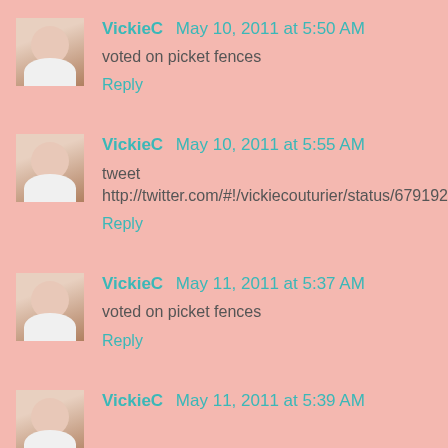VickieC May 10, 2011 at 5:50 AM
voted on picket fences
Reply
VickieC May 10, 2011 at 5:55 AM
tweet http://twitter.com/#!/vickiecouturier/status/67919271606493184
Reply
VickieC May 11, 2011 at 5:37 AM
voted on picket fences
Reply
VickieC May 11, 2011 at 5:39 AM